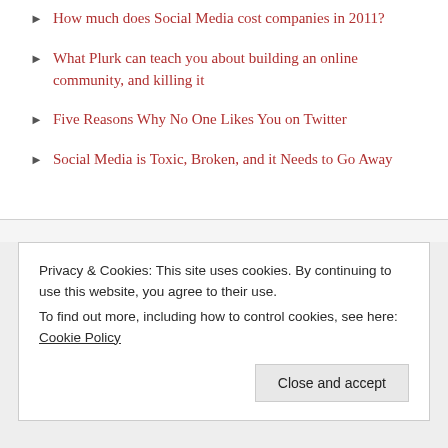How much does Social Media cost companies in 2011?
What Plurk can teach you about building an online community, and killing it
Five Reasons Why No One Likes You on Twitter
Social Media is Toxic, Broken, and it Needs to Go Away
Privacy & Cookies: This site uses cookies. By continuing to use this website, you agree to their use.
To find out more, including how to control cookies, see here: Cookie Policy
Close and accept